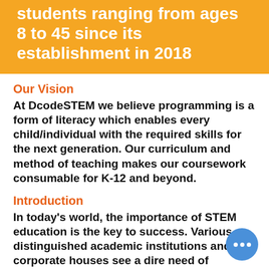students ranging from ages 8 to 45 since its establishment in 2018
Our Vision
At DcodeSTEM we believe programming is a form of literacy which enables every child/individual with the required skills for the next generation. Our curriculum and method of teaching makes our coursework consumable for K-12 and beyond.
Introduction
In today's world, the importance of STEM education is the key to success. Various distinguished academic institutions and corporate houses see a dire need of experts in the field of STEM. Here b...